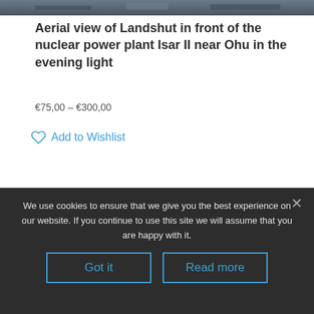[Figure (photo): Aerial cityscape photo cropped at top of page]
Aerial view of Landshut in front of the nuclear power plant Isar II near Ohu in the evening light
€75,00 – €300,00
Add to Wishlist
We use cookies to ensure that we give you the best experience on our website. If you continue to use this site we will assume that you are happy with it.
Got it
Read more